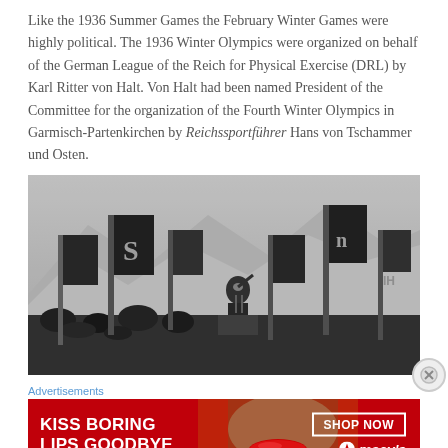Like the 1936 Summer Games the February Winter Games were highly political. The 1936 Winter Olympics were organized on behalf of the German League of the Reich for Physical Exercise (DRL) by Karl Ritter von Halt. Von Halt had been named President of the Committee for the organization of the Fourth Winter Olympics in Garmisch-Partenkirchen by Reichssportführer Hans von Tschammer und Osten.
[Figure (photo): Black and white historical photograph of a political rally at the 1936 Winter Olympics in Garmisch-Partenkirchen, showing a speaker at a podium surrounded by flags with crowds and mountains in background.]
Advertisements
[Figure (other): Macy's advertisement with red background showing a woman's face with red lips, text 'KISS BORING LIPS GOODBYE' and 'SHOP NOW' button with Macy's star logo.]